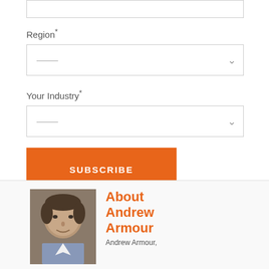Region*
———
Your Industry*
———
SUBSCRIBE
About Andrew Armour
Andrew Armour,